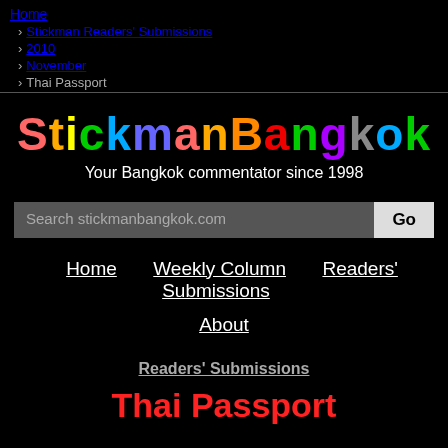Home
› Stickman Readers' Submissions
› 2010
› November
› Thai Passport
StickmanBangkok
Your Bangkok commentator since 1998
Search stickmanbangkok.com  Go
Home  Weekly Column  Readers' Submissions
About
Readers' Submissions
Thai Passport